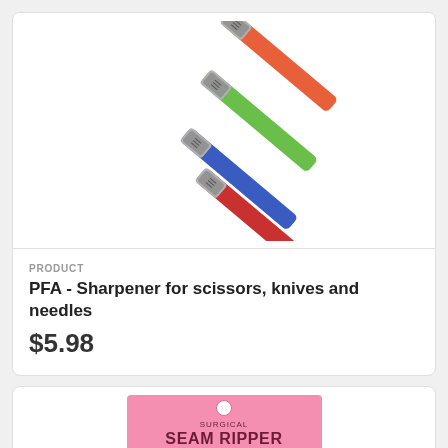[Figure (photo): Four elongated tool sharpeners in orange, green, blue, and red colors, arranged diagonally on a white background.]
PRODUCT
PFA - Sharpener for scissors, knives and needles
$5.98
[Figure (photo): Pink packaging card for a Surgical Seam Ripper product with text: SURGICAL SEAM RIPPER, OPENS SEAMS UP LIKE A ZIPPER, Instead of cutting each stitch separately you will slip right through by sliding stitches in to ripper.]